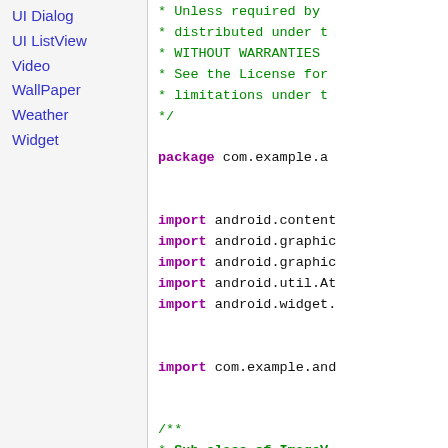UI Dialog
UI ListView
Video
WallPaper
Weather
Widget
* Unless required by
* distributed under t
* WITHOUT WARRANTIES
* See the License for
* limitations under t
*/

package com.example.a

import android.content
import android.graphic
import android.graphic
import android.util.At
import android.widget.

import com.example.and

/**
 * Sub-class of ImageV
 * being displayed.
 */
public class Recycling

    public RecyclingIm